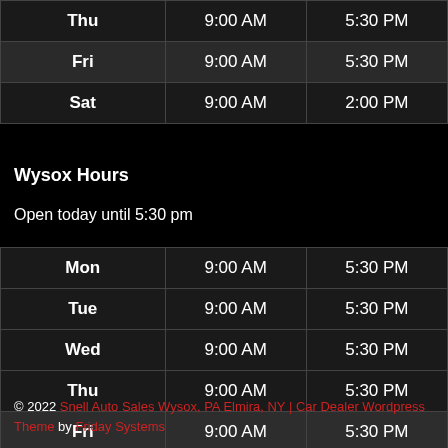| Day | Open | Close |
| --- | --- | --- |
| Thu | 9:00 AM | 5:30 PM |
| Fri | 9:00 AM | 5:30 PM |
| Sat | 9:00 AM | 2:00 PM |
Wysox Hours
Open today until 5:30 pm
| Day | Open | Close |
| --- | --- | --- |
| Mon | 9:00 AM | 5:30 PM |
| Tue | 9:00 AM | 5:30 PM |
| Wed | 9:00 AM | 5:30 PM |
| Thu | 9:00 AM | 5:30 PM |
| Fri | 9:00 AM | 5:30 PM |
| Sat | 9:00 AM | 1:00 PM |
© 2022 Snell Auto Sales Wysox, PA Elmira, NY | Car Dealer Wordpress Theme by Friday Systems